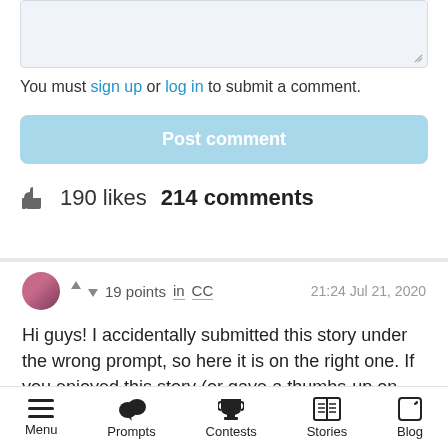[Figure (screenshot): Textarea input box for comment submission, light blue-gray background with resize handle]
You must sign up or log in to submit a comment.
Post comment
190 likes  214 comments
▲ ▼ 19 points  in  CC   21:24 Jul 21, 2020
Hi guys! I accidentally submitted this story under the wrong prompt, so here it is on the right one. If you enjoyed this story (or gave a thumbs-up on the old
Menu  Prompts  Contests  Stories  Blog